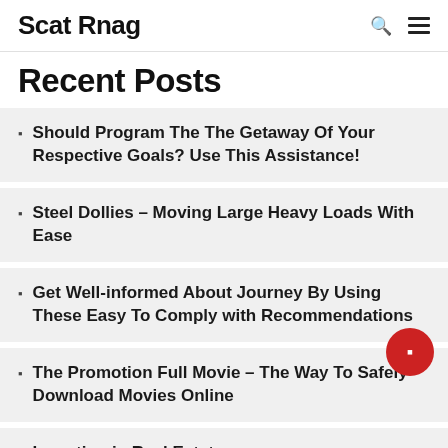Scat Rnag
Recent Posts
Should Program The The Getaway Of Your Respective Goals? Use This Assistance!
Steel Dollies – Moving Large Heavy Loads With Ease
Get Well-informed About Journey By Using These Easy To Comply with Recommendations
The Promotion Full Movie – The Way To Safely Download Movies Online
Investing in Real Estate